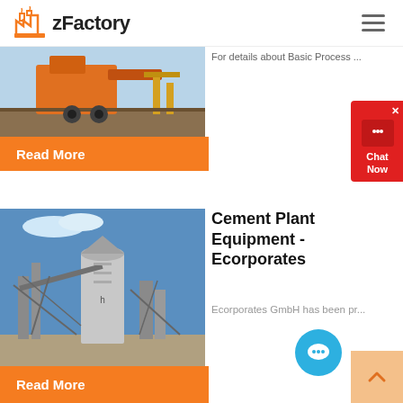zFactory
[Figure (photo): Industrial factory/quarry equipment with orange machinery and yellow safety structures]
For details about Basic Process ...
Read More
[Figure (other): Chat Now widget in red with speech bubble icon]
[Figure (photo): Cement plant equipment showing industrial silos, conveyors and steel structures against blue sky]
Cement Plant Equipment - Ecorporates
Ecorporates GmbH has been pr...
Read More
[Figure (other): Blue circular chat bubble button]
[Figure (other): Scroll to top button with upward chevron on peach/orange background]